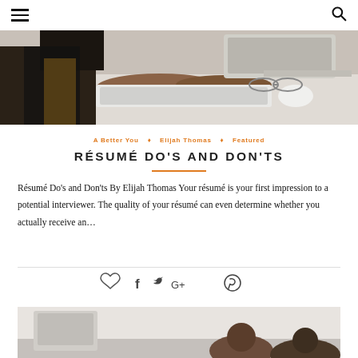Navigation bar with hamburger menu and search icon
[Figure (photo): Person typing on a keyboard at a desk with a monitor and laptop]
A Better You  ◇  Elijah Thomas  ◇  Featured
RÉSUMÉ DO'S AND DON'TS
Résumé Do's and Don'ts By Elijah Thomas Your résumé is your first impression to a potential interviewer. The quality of your résumé can even determine whether you actually receive an...
[Figure (photo): People in a meeting or classroom setting, partially visible at bottom]